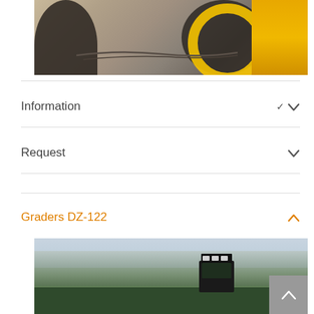[Figure (photo): Yellow construction grader machinery on gravel/dirt surface, close-up of large black tyres and yellow wheel rims and machine body]
Information
Request
Graders DZ-122
[Figure (photo): Motor grader DZ-122 in a winter landscape with bare birch trees and conifer forest in background, pale blue sky]